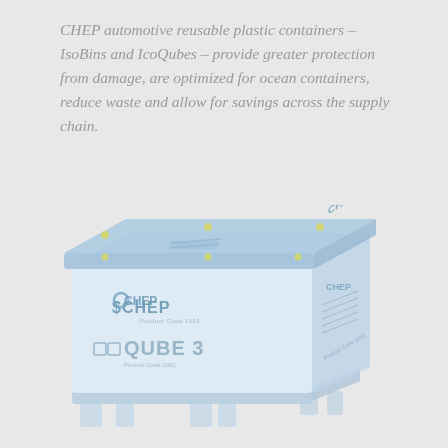CHEP automotive reusable plastic containers – IsoBins and IcoQubes – provide greater protection from damage, are optimized for ocean containers, reduce waste and allow for savings across the supply chain.
[Figure (illustration): A CHEP IcoQube 3 reusable plastic container on a pallet base, shown in light blue and white colors with CHEP logos on front and side panels, and 'ICOQUBE 3' text visible on the front face.]